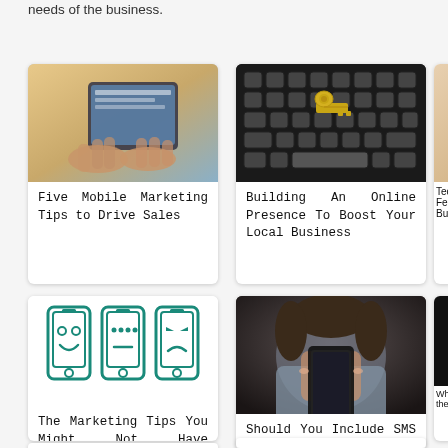needs of the business.
[Figure (photo): Person using a tablet computer, hands visible]
Five Mobile Marketing Tips to Drive Sales
[Figure (photo): Computer keyboard with a golden key on top]
Building An Online Presence To Boost Your Local Business
[Figure (photo): Partially visible card - Tech Features Business]
[Figure (illustration): Three smartphone icons with happy, neutral, and sad face expressions in teal]
The Marketing Tips You Might Not Have Considered Yet
[Figure (photo): Woman holding a smartphone]
Should You Include SMS Messaging In Your Marketing Strategies?
What the Ki